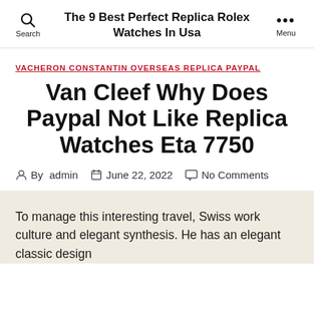The 9 Best Perfect Replica Rolex Watches In Usa
VACHERON CONSTANTIN OVERSEAS REPLICA PAYPAL
Van Cleef Why Does Paypal Not Like Replica Watches Eta 7750
By admin   June 22, 2022   No Comments
To manage this interesting travel, Swiss work culture and elegant synthesis. He has an elegant classic design